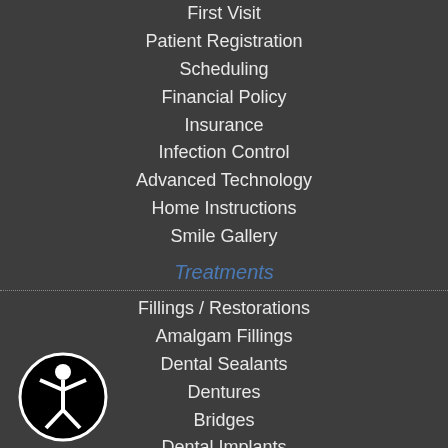First Visit
Patient Registration
Scheduling
Financial Policy
Insurance
Infection Control
Advanced Technology
Home Instructions
Smile Gallery
Treatments
Fillings / Restorations
Amalgam Fillings
Dental Sealants
Dentures
Bridges
Dental Implants
Crowns
Tooth Extractions
Root Canal
[Figure (logo): Circular logo with white figure on black background]